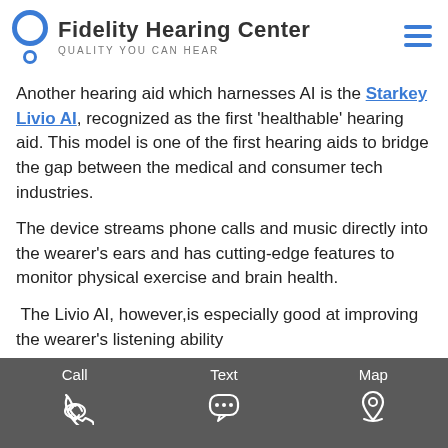Fidelity Hearing Center — QUALITY YOU CAN HEAR
Another hearing aid which harnesses AI is the Starkey Livio AI, recognized as the first 'healthable' hearing aid. This model is one of the first hearing aids to bridge the gap between the medical and consumer tech industries.
The device streams phone calls and music directly into the wearer's ears and has cutting-edge features to monitor physical exercise and brain health.
The Livio AI, however,is especially good at improving the wearer's listening ability
Call  Text  Map